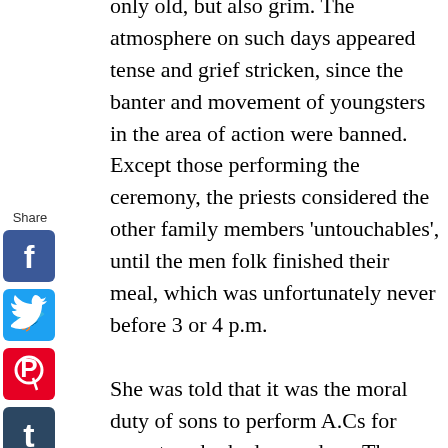only old, but also grim. The atmosphere on such days appeared tense and grief stricken, since the banter and movement of youngsters in the area of action were banned. Except those performing the ceremony, the priests considered the other family members 'untouchables', until the men folk finished their meal, which was unfortunately never before 3 or 4 p.m.

She was told that it was the moral duty of sons to perform A.Cs for parents, who had passed on. The explanation did not satisfy her teenage curiosity. In fact, the question turned to a puzzle. Why should one who is 'alive and kicking' do such a thing for